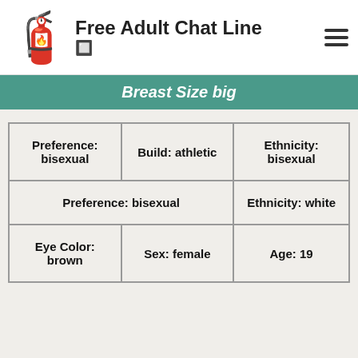Free Adult Chat Line 🔥
Breast Size big
| Preference: bisexual | Build: athletic | Ethnicity: bisexual |
| Preference: bisexual | Ethnicity: white |
| Eye Color: brown | Sex: female | Age: 19 |